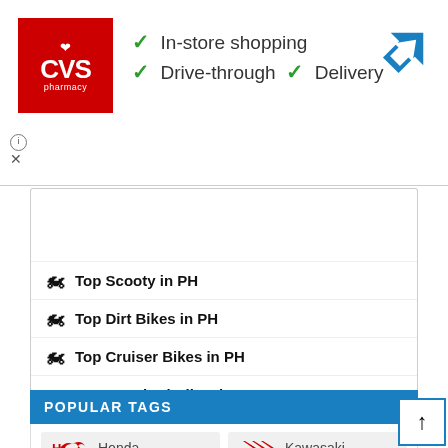[Figure (screenshot): CVS Pharmacy advertisement banner with logo, in-store shopping, drive-through, and delivery checkmarks, plus Google Maps navigation arrow icon]
Top Sport Bikes in PH
Top Scooty in PH
Top Dirt Bikes in PH
Top Cruiser Bikes in PH
Top Standard Bikes in PH
POPULAR TAGS
[Figure (logo): Honda logo tag]
[Figure (logo): Kawasaki logo tag]
[Figure (logo): Suzuki logo tag]
[Figure (logo): KTM logo tag]